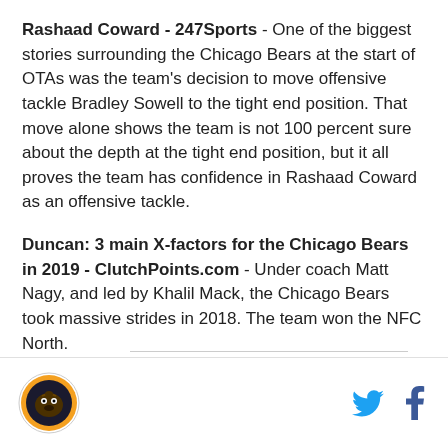Rashaad Coward - 247Sports - One of the biggest stories surrounding the Chicago Bears at the start of OTAs was the team's decision to move offensive tackle Bradley Sowell to the tight end position. That move alone shows the team is not 100 percent sure about the depth at the tight end position, but it all proves the team has confidence in Rashaad Coward as an offensive tackle.
Duncan: 3 main X-factors for the Chicago Bears in 2019 - ClutchPoints.com - Under coach Matt Nagy, and led by Khalil Mack, the Chicago Bears took massive strides in 2018. The team won the NFC North.
[Figure (logo): Chicago Bears circular logo with bear illustration]